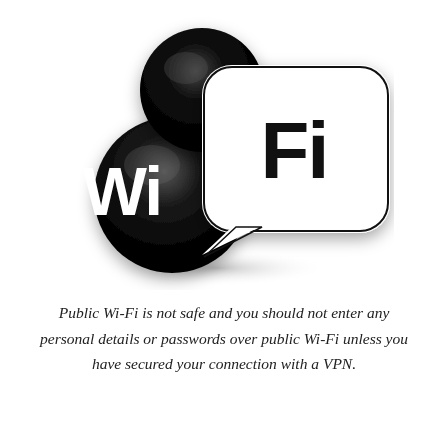[Figure (logo): Wi-Fi logo: 3D glossy black cloud/bubble shapes with white 'Wi' text on the left bubble and a white rounded rectangle speech-bubble shape on the right containing black 'Fi' text]
Public Wi-Fi is not safe and you should not enter any personal details or passwords over public Wi-Fi unless you have secured your connection with a VPN.